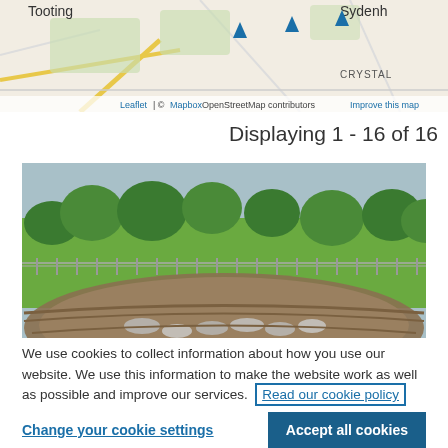[Figure (map): Street map showing Tooting and Sydenham areas with map pins and Crystal label. Attribution: Leaflet | © Mapbox OpenStreetMap contributors Improve this map]
Displaying 1 - 16 of 16
[Figure (photo): Outdoor park photo showing green grass, trees, fence, and a circular stone/pebble feature in foreground]
We use cookies to collect information about how you use our website. We use this information to make the website work as well as possible and improve our services. Read our cookie policy
Change your cookie settings
Accept all cookies